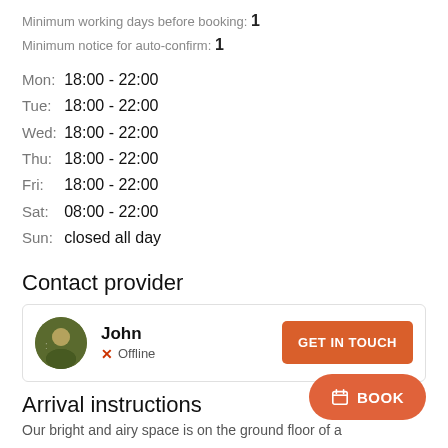Minimum working days before booking: 1
Minimum notice for auto-confirm: 1
Mon: 18:00 - 22:00
Tue: 18:00 - 22:00
Wed: 18:00 - 22:00
Thu: 18:00 - 22:00
Fri: 18:00 - 22:00
Sat: 08:00 - 22:00
Sun: closed all day
Contact provider
John
Offline
Arrival instructions
Our bright and airy space is on the ground floor of a